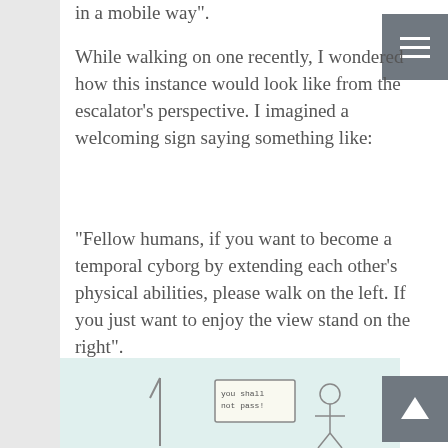in a mobile way".
While walking on one recently, I wondered how this instance would look like from the escalator's perspective. I imagined a welcoming sign saying something like:
"Fellow humans, if you want to become a temporal cyborg by extending each other's physical abilities, please walk on the left. If you just want to enjoy the view stand on the right".
[Figure (illustration): Hand-drawn illustration at the bottom of the page showing a figure holding a sign that reads 'You Shall Not Pass!']